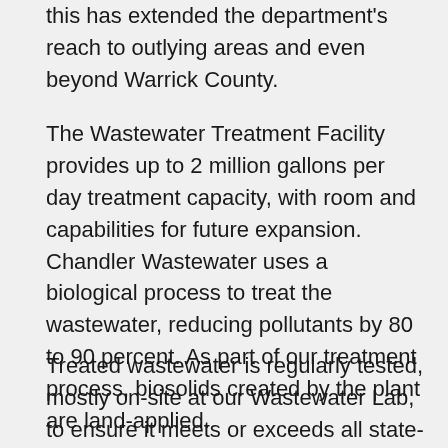this has extended the department's reach to outlying areas and even beyond Warrick County.
The Wastewater Treatment Facility provides up to 2 million gallons per day treatment capacity, with room and capabilities for future expansion. Chandler Wastewater uses a biological process to treat the wastewater, reducing pollutants by 80 to 90 percent. As part of our treatment process, biosolids created by the plant are land-applied.
Treated wastewater is regularly tested, mostly on-site at our Wastewater Lab, to ensure it meets or exceeds all state-required quality standards before being released into a tributary of the Stollberg Ditch.